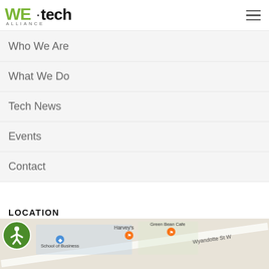[Figure (logo): WE·tech Alliance logo with green stylized 'WE' letters, dot, and 'tech' in black bold, 'ALLIANCE' in small caps below]
Who We Are
What We Do
Tech News
Events
Contact
LOCATION
[Figure (map): Google Maps snippet showing Wyandotte St W area with Harvey's, School of Business, and Green Bean Cafe markers visible]